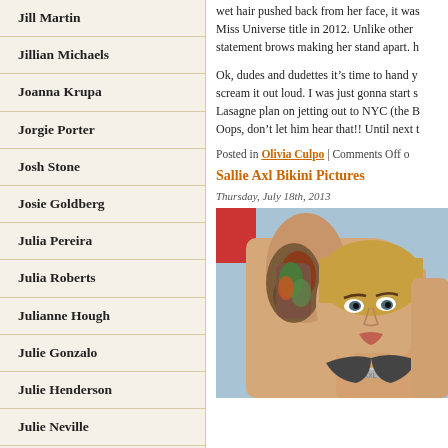Jill Martin
Jillian Michaels
Joanna Krupa
Jorgie Porter
Josh Stone
Josie Goldberg
Julia Pereira
Julia Roberts
Julianne Hough
Julie Gonzalo
Julie Henderson
Julie Neville
Juliette Lewis
Jwoww
Karina Smirnoff
wet hair pushed back from her face, it was Miss Universe title in 2012. Unlike other statement brows making her stand apart.
Ok, dudes and dudettes it's time to hand y scream it out loud. I was just gonna start s Lasagne plan on jetting out to NYC (the B Oops, don't let him hear that!! Until next t
Posted in Olivia Culpo | Comments Off o
Sallie Axl Bikini Pictures
Thursday, July 18th, 2013
[Figure (photo): Woman with tattoos on her arm posing in a bikini, blonde hair slicked back, wearing a chain necklace with 'AXL' letters]